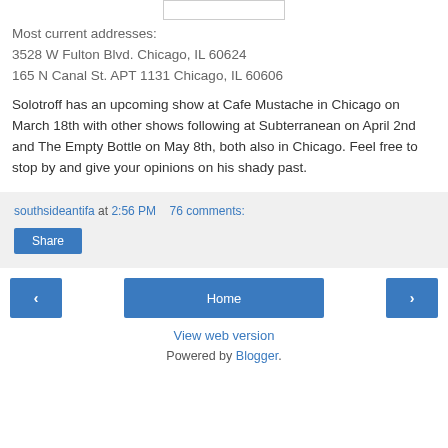[Figure (other): Small rectangular placeholder image at top center]
Most current addresses:
3528 W Fulton Blvd. Chicago, IL 60624
165 N Canal St. APT 1131 Chicago, IL 60606
Solotroff has an upcoming show at Cafe Mustache in Chicago on March 18th with other shows following at Subterranean on April 2nd and The Empty Bottle on May 8th, both also in Chicago. Feel free to stop by and give your opinions on his shady past.
southsideantifa at 2:56 PM   76 comments:
Share
Home
View web version
Powered by Blogger.